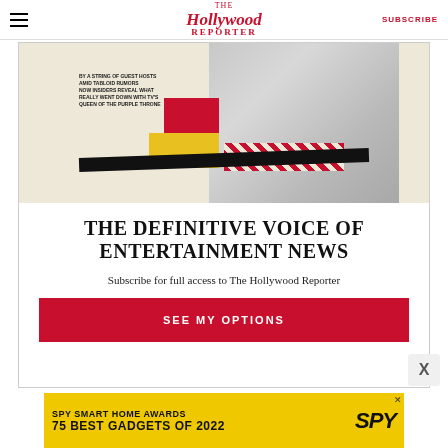The Hollywood Reporter | SUBSCRIBE
[Figure (illustration): Magazine cover collage showing a person in gray outfit with red, yellow, and patterned color blocks, and cover text about guest hosts and tabloid rumors about TV's Queen of the Purple Throne]
THE DEFINITIVE VOICE OF ENTERTAINMENT NEWS
Subscribe for full access to The Hollywood Reporter
SEE MY OPTIONS
[Figure (infographic): SPY SMART HOME AWARDS 75 BEST GADGETS OF 2022 advertisement banner with yellow background and SPY logo]